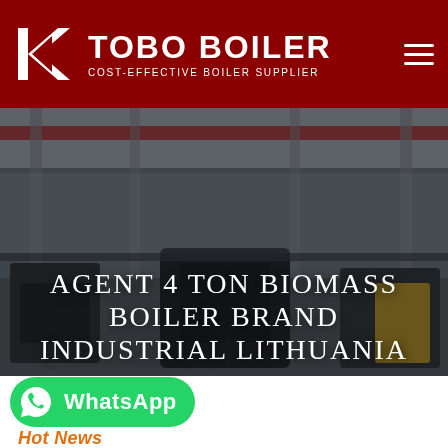TOBO BOILER - COST-EFFECTIVE BOILER SUPPLIER
[Figure (photo): Industrial boiler manufacturing facility interior with large overhead cranes, equipment and machinery on the factory floor. Overlaid with large white text reading: AGENT 4 TON BIOMASS BOILER BRAND INDUSTRIAL LITHUANIA]
AGENT 4 TON BIOMASS BOILER BRAND INDUSTRIAL LITHUANIA
[Figure (logo): WhatsApp button - green rounded rectangle with WhatsApp phone icon and text 'WhatsApp']
Hot News